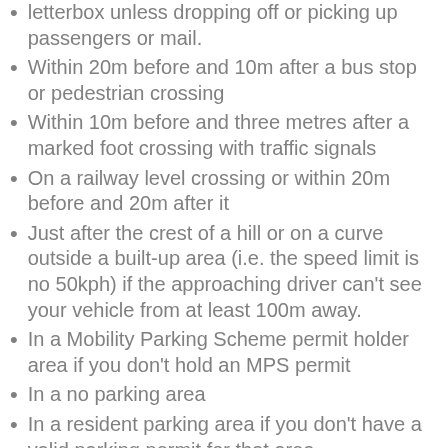letterbox unless dropping off or picking up passengers or mail.
Within 20m before and 10m after a bus stop or pedestrian crossing
Within 10m before and three metres after a marked foot crossing with traffic signals
On a railway level crossing or within 20m before and 20m after it
Just after the crest of a hill or on a curve outside a built-up area (i.e. the speed limit is no 50kph) if the approaching driver can't see your vehicle from at least 100m away.
In a Mobility Parking Scheme permit holder area if you don't hold an MPS permit
In a no parking area
In a resident parking area if you don't have a valid parking permit for that area
In a loading area or bus zone or loading...